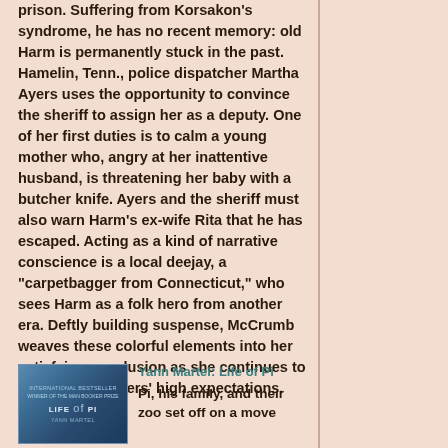prison. Suffering from Korsakon's syndrome, he has no recent memory: old Harm is permanently stuck in the past. Hamelin, Tenn., police dispatcher Martha Ayers uses the opportunity to convince the sheriff to assign her as a deputy. One of her first duties is to calm a young mother who, angry at her inattentive husband, is threatening her baby with a butcher knife. Ayers and the sheriff must also warn Harm's ex-wife Rita that he has escaped. Acting as a kind of narrative conscience is a local deejay, a "carpetbagger from Connecticut," who sees Harm as a folk hero from another era. Deftly building suspense, McCrumb weaves these colorful elements into her satisfying conclusion as she continues to reward her readers' high expectations. (***)
[Figure (illustration): Book cover for Life of Pi by Yann Martel, showing blue tones with the title prominently displayed]
Yann Martel: Life of Pi
Pi, his family, and their zoo set off on a move